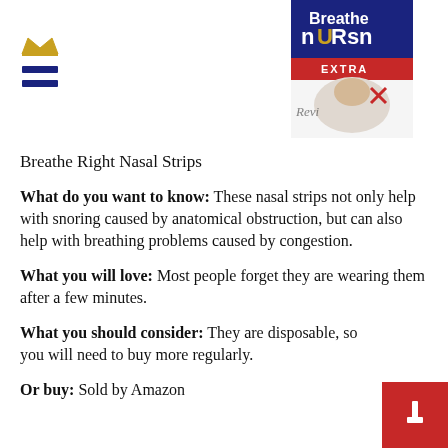[Figure (photo): Breathe Right Nasal Strips Extra product box with a person sleeping shown on packaging]
Breathe Right Nasal Strips
What do you want to know: These nasal strips not only help with snoring caused by anatomical obstruction, but can also help with breathing problems caused by congestion.
What you will love: Most people forget they are wearing them after a few minutes.
What you should consider: They are disposable, so you will need to buy more regularly.
Or buy: Sold by Amazon